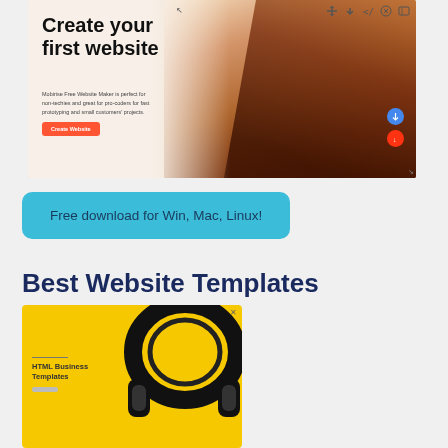[Figure (screenshot): Website builder hero section screenshot showing 'Create your first website' heading with a woman's portrait on the right, a small descriptive subtitle, an orange 'Create Website' button, and a toolbar with icons in the top right corner. A blue circle and red circle with downward arrow appear on the right side.]
Free download for Win, Mac, Linux!
Best Website Templates
[Figure (screenshot): Website template card with yellow background showing headphones and 'HTML Business Templates' text label with a small button below.]